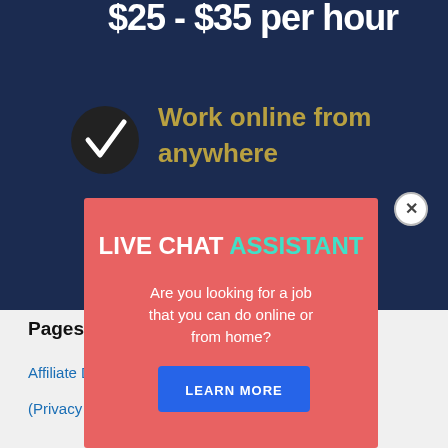[Figure (screenshot): Dark navy blue banner background with bold white text '$25-$35 per hour' at top, and below it a black circle checkmark icon followed by gold/olive text 'Work online from anywhere']
[Figure (infographic): Salmon/coral colored popup modal overlay with a white X close button. Contains: bold white text 'LIVE CHAT' followed by cyan/teal bold text 'ASSISTANT', below that white body text 'Are you looking for a job that you can do online or from home?', and a blue button labeled 'LEARN MORE']
Pages
Affiliate Disclosure
(Privacy Policy)